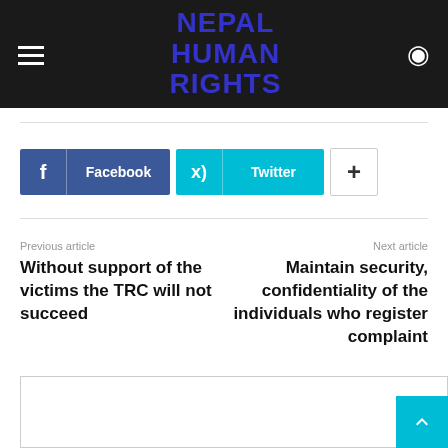NEPAL HUMAN RIGHTS
[Figure (screenshot): Facebook share button]
[Figure (screenshot): Twitter share button]
[Figure (screenshot): More share button (plus icon)]
Previous article
Without support of the victims the TRC will not succeed
Next article
Maintain security, confidentiality of the individuals who register complaint